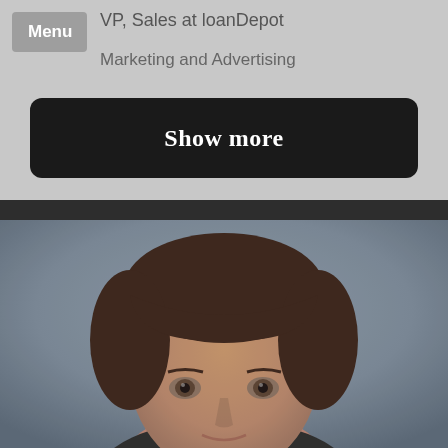VP, Sales at loanDepot
Marketing and Advertising
Show more
[Figure (photo): Close-up photo of a person with dark brown hair with bangs, looking at the camera against a blue-gray background]